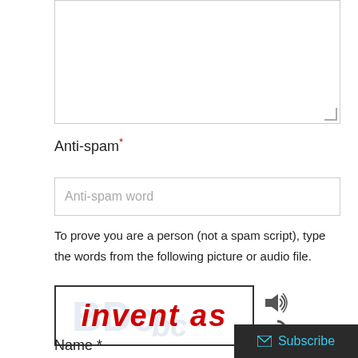[Figure (screenshot): Textarea input box (empty, with resize handle at bottom right)]
Anti-spam*
[Figure (screenshot): Anti-spam word input field with placeholder text 'Anti-spam word']
To prove you are a person (not a spam script), type the words from the following picture or audio file.
[Figure (screenshot): CAPTCHA image showing 'invent as' in red italic text with watermark background, plus audio and refresh icons]
Name *
Subscribe